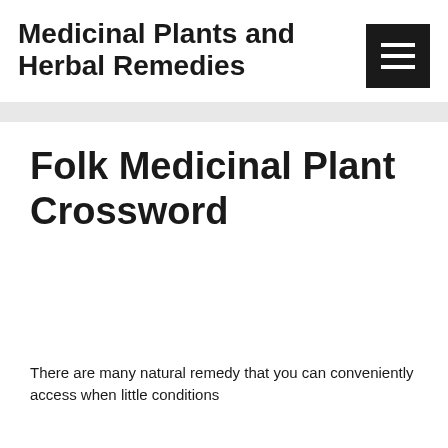Medicinal Plants and Herbal Remedies
[Figure (other): Menu button (hamburger icon) in a dark square]
Folk Medicinal Plant Crossword
There are many natural remedy that you can conveniently access when little conditions